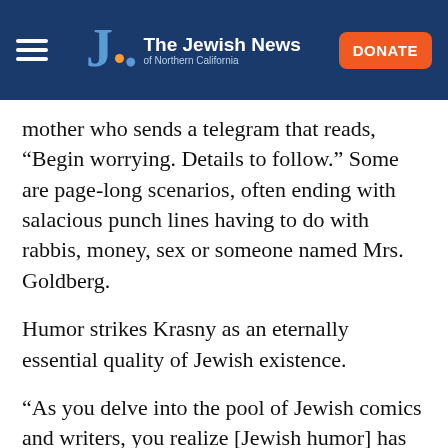The Jewish News of Northern California
mother who sends a telegram that reads, “Begin worrying. Details to follow.” Some are page-long scenarios, often ending with salacious punch lines having to do with rabbis, money, sex or someone named Mrs. Goldberg.
Humor strikes Krasny as an eternally essential quality of Jewish existence.
“As you delve into the pool of Jewish comics and writers, you realize [Jewish humor] has become a staple of American humor, even though it has its uniqueness and ties in to Jewish heritage and values, whether in America or back in the shtetl,”